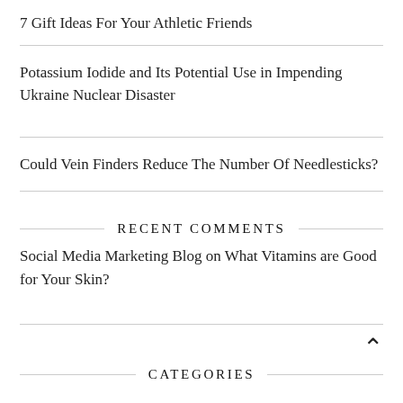7 Gift Ideas For Your Athletic Friends
Potassium Iodide and Its Potential Use in Impending Ukraine Nuclear Disaster
Could Vein Finders Reduce The Number Of Needlesticks?
RECENT COMMENTS
Social Media Marketing Blog on What Vitamins are Good for Your Skin?
CATEGORIES